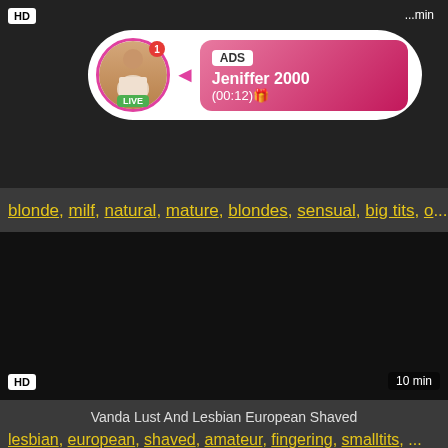[Figure (screenshot): Dark video thumbnail top area with HD badge and duration indicator]
[Figure (screenshot): Ad overlay bubble showing live avatar of Jeniffer 2000 with LIVE badge, ADS label, name and timestamp (00:12)]
blonde, milf, natural, mature, blondes, sensual, big tits, o...
[Figure (screenshot): Dark black video thumbnail with HD badge and 10 min duration label]
Vanda Lust And Lesbian European Shaved
lesbian, european, shaved, amateur, fingering, smalltits, ...